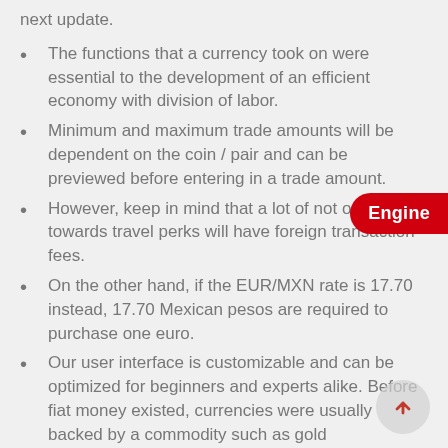next update.
The functions that a currency took on were essential to the development of an efficient economy with division of labor.
Minimum and maximum trade amounts will be dependent on the coin / pair and can be previewed before entering in a trade amount.
However, keep in mind that a lot of not oriented towards travel perks will have foreign transaction fees.
On the other hand, if the EUR/MXN rate is 17.70 instead, 17.70 Mexican pesos are required to purchase one euro.
Our user interface is customizable and can be optimized for beginners and experts alike. Before fiat money existed, currencies were usually backed by a commodity such as gold